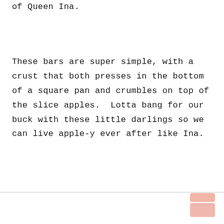of Queen Ina.
These bars are super simple, with a crust that both presses in the bottom of a square pan and crumbles on top of the slice apples.  Lotta bang for our buck with these little darlings so we can live apple-y ever after like Ina.